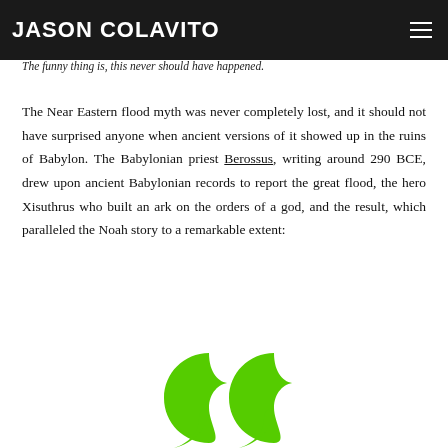JASON COLAVITO
The funny thing is, this never should have happened.
The Near Eastern flood myth was never completely lost, and it should not have surprised anyone when ancient versions of it showed up in the ruins of Babylon. The Babylonian priest Berossus, writing around 290 BCE, drew upon ancient Babylonian records to report the great flood, the hero Xisuthrus who built an ark on the orders of a god, and the result, which paralleled the Noah story to a remarkable extent:
[Figure (illustration): Large green opening quotation marks decorative element]